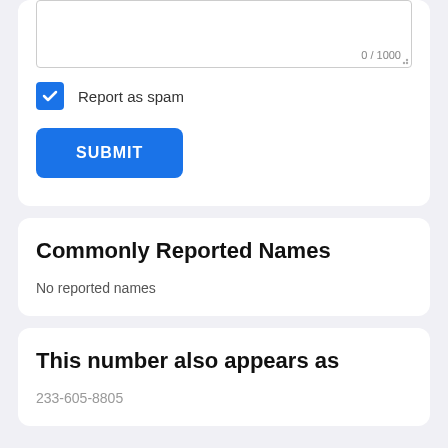[Figure (screenshot): Textarea input box with character counter showing 0 / 1000]
Report as spam
SUBMIT
Commonly Reported Names
No reported names
This number also appears as
233-605-8805